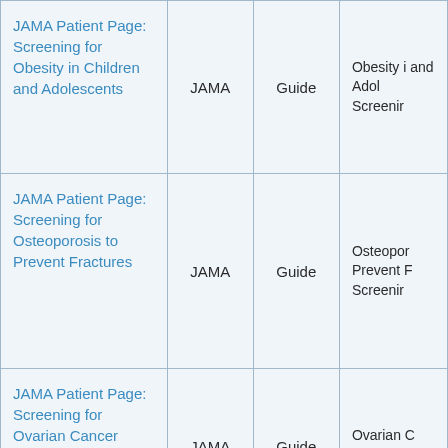| JAMA Patient Page: Screening for Obesity in Children and Adolescents | JAMA | Guide | Obesity i and Adol Screening |
| JAMA Patient Page: Screening for Osteoporosis to Prevent Fractures | JAMA | Guide | Osteopor Prevent F Screening |
| JAMA Patient Page: Screening for Ovarian Cancer | JAMA | Guide | Ovarian C Screening |